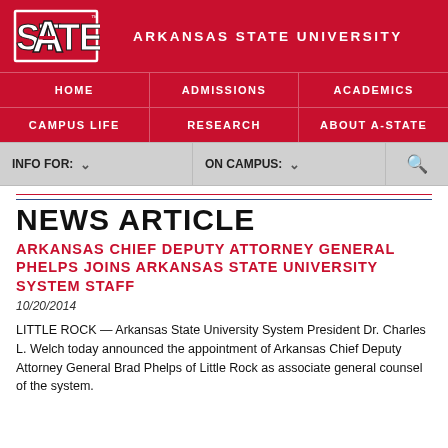[Figure (logo): Arkansas State University 'A-State' logo with stylized A in red and white with black outline]
ARKANSAS STATE UNIVERSITY
HOME | ADMISSIONS | ACADEMICS | CAMPUS LIFE | RESEARCH | ABOUT A-STATE
INFO FOR: | ON CAMPUS:
NEWS ARTICLE
ARKANSAS CHIEF DEPUTY ATTORNEY GENERAL PHELPS JOINS ARKANSAS STATE UNIVERSITY SYSTEM STAFF
10/20/2014
LITTLE ROCK — Arkansas State University System President Dr. Charles L. Welch today announced the appointment of Arkansas Chief Deputy Attorney General Brad Phelps of Little Rock as associate general counsel of the system.